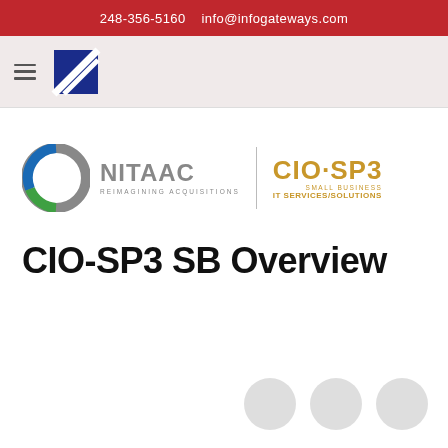248-356-5160   info@infogateways.com
[Figure (logo): InfoGateways logo with hamburger menu icon and diagonal striped square logo mark]
[Figure (logo): NITAAC Reimagining Acquisitions logo alongside CIO-SP3 Small Business IT Services/Solutions logo]
CIO-SP3 SB Overview